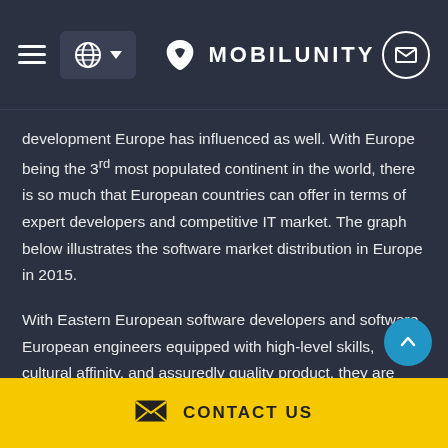MOBILUNITY
development Europe has influenced as well. With Europe being the 3rd most populated continent in the world, there is so much that European countries can offer in terms of expert developers and competitive IT market. The graph below illustrates the software market distribution in Europe in 2015.
With Eastern European software developers and software European engineers equipped with high-level skills, cultural affinity, and assuredly quality product, they are
CONTACT US